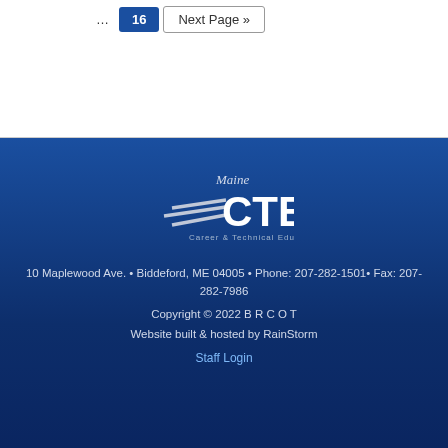... 16 Next Page »
[Figure (logo): Maine CTE Career & Technical Education logo with stylized speed lines]
10 Maplewood Ave. • Biddeford, ME 04005 • Phone: 207-282-1501 • Fax: 207-282-7986
Copyright © 2022 B R C O T
Website built & hosted by RainStorm
Staff Login